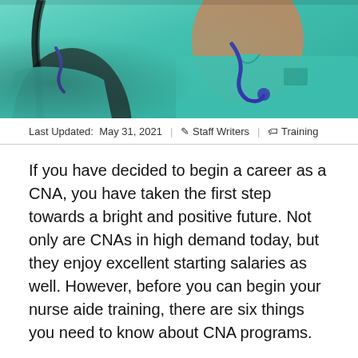[Figure (photo): Two healthcare workers in teal/green scrubs, one with a stethoscope around their neck, close-up portrait style image.]
Last Updated:  May 31, 2021  |  ✏ Staff Writers  |  🏷 Training
If you have decided to begin a career as a CNA, you have taken the first step towards a bright and positive future. Not only are CNAs in high demand today, but they enjoy excellent starting salaries as well. However, before you can begin your nurse aide training, there are six things you need to know about CNA programs.
1. There Are Certain Prerequisites to